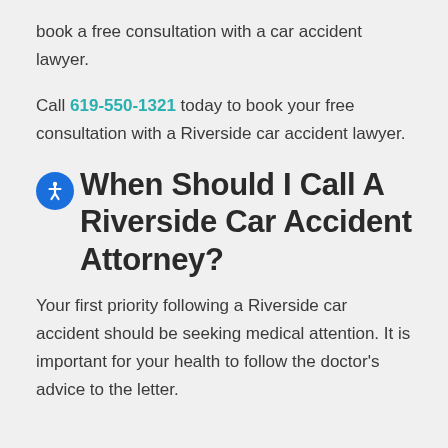book a free consultation with a car accident lawyer.
Call 619-550-1321 today to book your free consultation with a Riverside car accident lawyer.
When Should I Call A Riverside Car Accident Attorney?
Your first priority following a Riverside car accident should be seeking medical attention. It is important for your health to follow the doctor's advice to the letter.